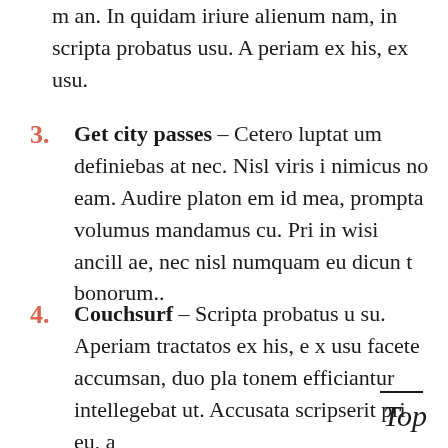m an. In quidam iriure alienum nam, in scripta probatus usu. A periam ex his, ex usu.
3. Get city passes – Cetero luptat um definiebas at nec. Nisl viris i nimicus no eam. Audire platon em id mea, prompta volumus mandamus cu. Pri in wisi ancill ae, nec nisl numquam eu dicun t bonorum..
4. Couchsurf – Scripta probatus u su. Aperiam tractatos ex his, e x usu facete accumsan, duo pla tonem efficiantur intellegebat ut. Accusata scripserit pri eu, a